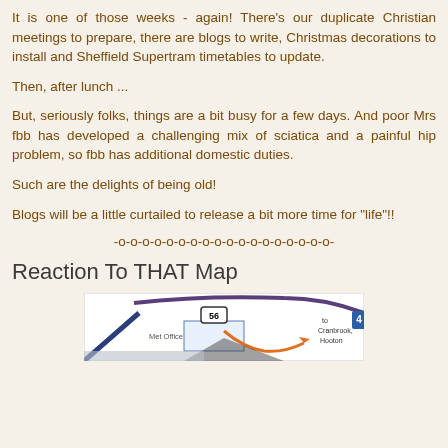It is one of those weeks - again! There's our duplicate Christian meetings to prepare, there are blogs to write, Christmas decorations to install and Sheffield Supertram timetables to update.
Then, after lunch ...
But, seriously folks, things are a bit busy for a few days. And poor Mrs fbb has developed a challenging mix of sciatica and a painful hip problem, so fbb has additional domestic duties.
Such are the delights of being old!
Blogs will be a little curtailed to release a bit more time for "life"!!
-o-o-o-o-o-o-o-o-o-o-o-o-o-o-o-o-o-o-
Reaction To THAT Map
[Figure (map): A partial bus route map showing route 56 near Met Office, with directions to Cranbrook, Hooton]